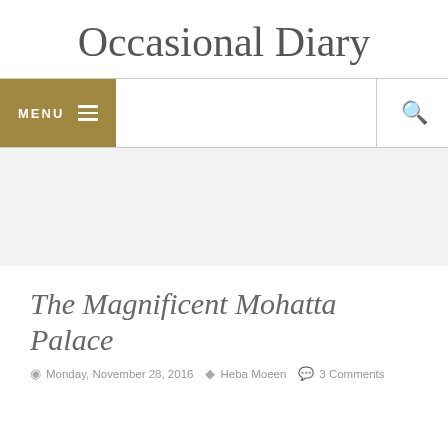Occasional Diary
[Figure (screenshot): Navigation bar with golden MENU button with hamburger icon on the left, and a search (magnifying glass) icon on the right separated by a vertical line]
[Figure (other): Light gray banner/advertisement area]
The Magnificent Mohatta Palace
Monday, November 28, 2016   Heba Moeen   3 Comments